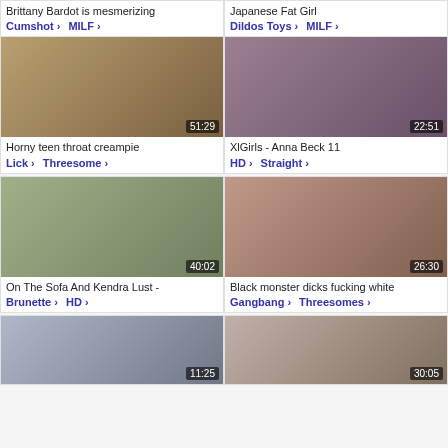Brittany Bardot is mesmerizing
Cumshot > MILF >
[Figure (photo): Video thumbnail, duration 51:29]
Horny teen throat creampie
Lick > Threesome >
[Figure (photo): Video thumbnail, duration 40:02]
On The Sofa And Kendra Lust -
Brunette > HD >
Japanese Fat Girl
Dildos Toys > MILF >
[Figure (photo): Video thumbnail, duration 22:51]
XlGirls - Anna Beck 11
HD > Straight >
[Figure (photo): Video thumbnail, duration 26:30]
Black monster dicks fucking white
Gangbang > Threesomes >
[Figure (photo): Partial video thumbnail, duration 11:25]
[Figure (photo): Partial video thumbnail, duration 30:05]